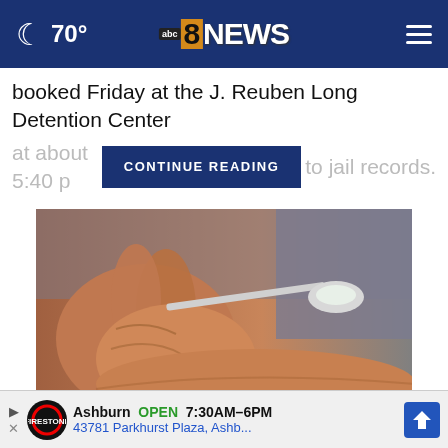70° abc8NEWS
booked Friday at the J. Reuben Long Detention Center at about 5:40 p… to jail records.
CONTINUE READING
[Figure (photo): Elderly person's wrinkled hands holding a spoon with white powder/substance]
7-second Ritual Could Stop Memory
Ashburn OPEN 7:30AM–6PM 43781 Parkhurst Plaza, Ashb...